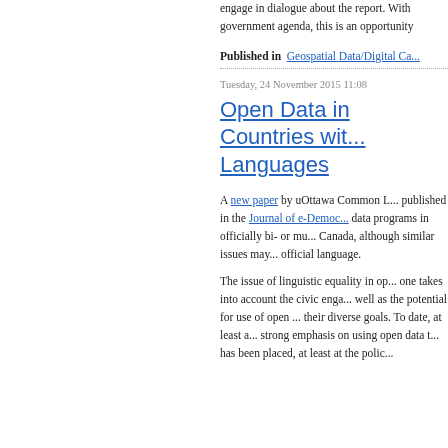engage in dialogue about the report. With government agenda, this is an opportunity
Published in  Geospatial Data/Digital Ca...
Tuesday, 24 November 2015 11:08
Open Data in Countries wit... Languages
A new paper by uOttawa Common L... published in the Journal of e-Democ... data programs in officially bi- or mu... Canada, although similar issues may... official language.
The issue of linguistic equality in op... one takes into account the civic enga... well as the potential for use of open ... their diverse goals. To date, at least a... strong emphasis on using open data t... has been placed, at least at the polic...